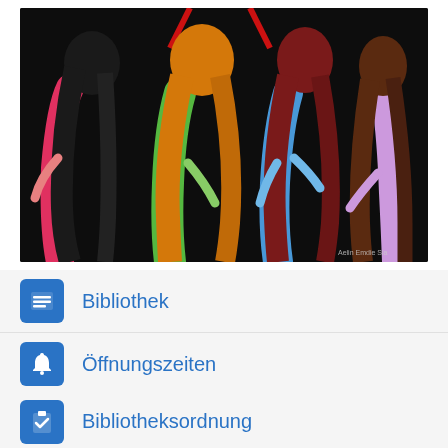[Figure (illustration): A hand-drawn colored pencil illustration showing four figures from behind with colorful hair (black, orange, dark red, brown) wearing colorful outfits (red/pink, green, blue, purple/lavender) against a black background. Small signature in bottom right corner reads 'Aelin Emdie Sia'.]
Bibliothek
Öffnungszeiten
Bibliotheksordnung